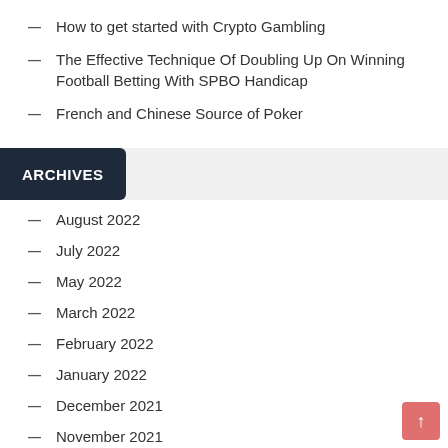How to get started with Crypto Gambling
The Effective Technique Of Doubling Up On Winning Football Betting With SPBO Handicap
French and Chinese Source of Poker
ARCHIVES
August 2022
July 2022
May 2022
March 2022
February 2022
January 2022
December 2021
November 2021